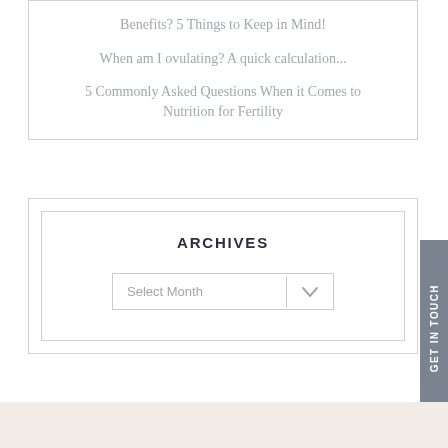Benefits? 5 Things to Keep in Mind!
When am I ovulating?  A quick calculation...
5 Commonly Asked Questions When it Comes to Nutrition for Fertility
ARCHIVES
Select Month